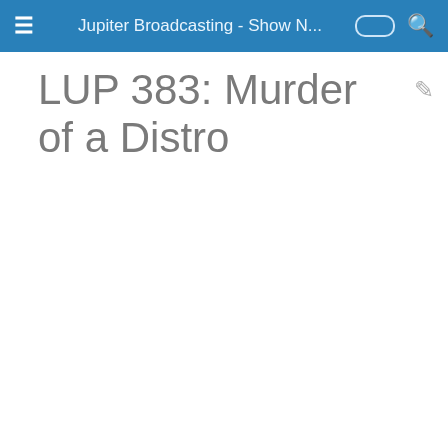Jupiter Broadcasting - Show N...
LUP 383: Murder of a Distro
[Figure (screenshot): Audio player widget with Linux Unplugged podcast logo on the left, episode title 'Murder of a Distro', play button, time display '00:00:00 / 01:06:30', gear icon, and Fireside branding on a black background.]